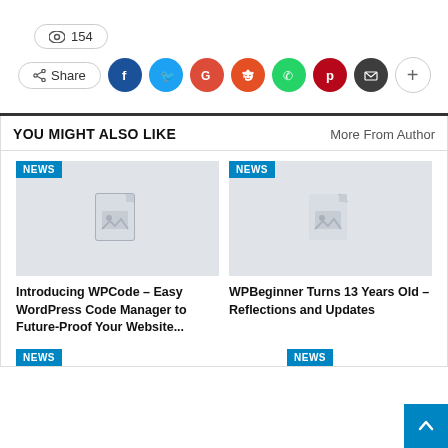👁 154
[Figure (infographic): Share bar with social media icons: Facebook, Twitter, Google+, Reddit, WhatsApp, Pinterest, Email, and a plus button]
YOU MIGHT ALSO LIKE
More From Author
[Figure (screenshot): Article card with grey placeholder image, NEWS tag, title: Introducing WPCode – Easy WordPress Code Manager to Future-Proof Your Website...]
[Figure (screenshot): Article card with grey placeholder image, NEWS tag, title: WPBeginner Turns 13 Years Old – Reflections and Updates]